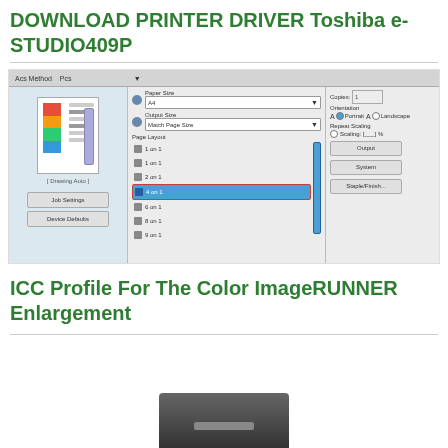DOWNLOAD PRINTER DRIVER Toshiba e-STUDIO409P
[Figure (screenshot): Screenshot of a printer driver dialog box showing page layout options including Paper Size, Output Size, and Page Layout dropdown with options 1 on 1, 1 on 1, 2 on 1, 4 on 1 (highlighted in blue), 6 on 1, 8 on 1, 9 on 1. Left panel shows a color print preview. Right panel shows Copies, Orientation (Portrait/Landscape), Repeat Scaling options, and buttons.]
ICC Profile For The Color ImageRUNNER Enlargement
[Figure (screenshot): Partially visible screenshot of another printer/device dialog, only the top portion showing a dark device/machine is visible at the bottom of the page.]